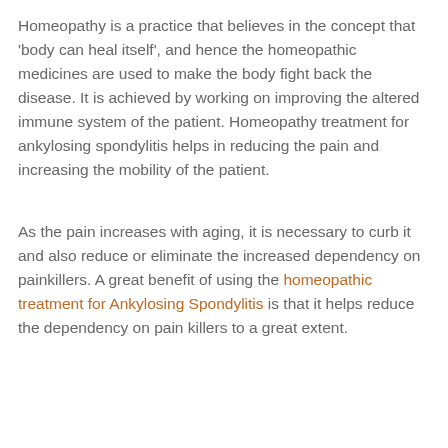Homeopathy is a practice that believes in the concept that 'body can heal itself', and hence the homeopathic medicines are used to make the body fight back the disease. It is achieved by working on improving the altered immune system of the patient. Homeopathy treatment for ankylosing spondylitis helps in reducing the pain and increasing the mobility of the patient.
As the pain increases with aging, it is necessary to curb it and also reduce or eliminate the increased dependency on painkillers. A great benefit of using the homeopathic treatment for Ankylosing Spondylitis is that it helps reduce the dependency on pain killers to a great extent.